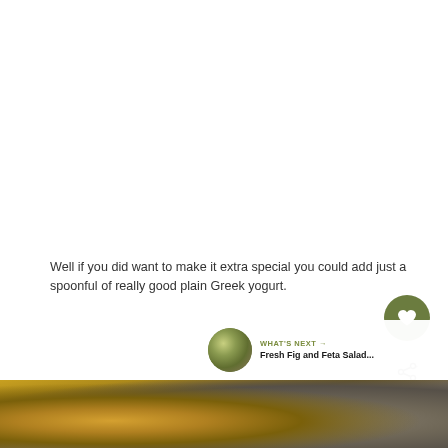Well if you did want to make it extra special you could add just a spoonful of really good plain Greek yogurt.
[Figure (photo): Circular heart/favorite button with olive green background and white heart icon]
[Figure (photo): Circular share button with light gray background and share icon]
[Figure (photo): What's Next banner showing Fresh Fig and Feta Salad with small circular food photo]
[Figure (photo): Bottom portion of a food photograph showing blurred yellow and brown tones]